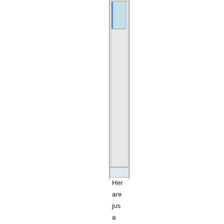[Figure (screenshot): A vertical scrollbar UI element showing a track with thumb, rendered with blue and grey gradient styling, partially visible on the right side of the image. The scrollbar appears to be a browser or application window scrollbar cropped at the left edge.]
Here are just a few fun fo